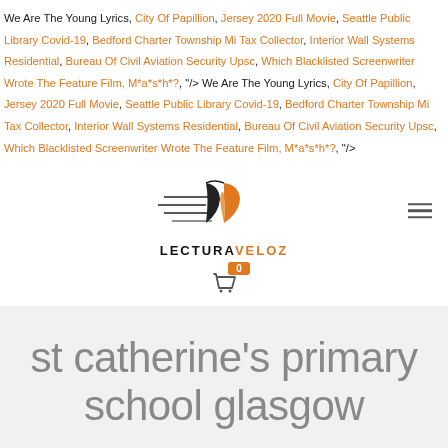We Are The Young Lyrics, City Of Papillion, Jersey 2020 Full Movie, Seattle Public Library Covid-19, Bedford Charter Township Mi Tax Collector, Interior Wall Systems Residential, Bureau Of Civil Aviation Security Upsc, Which Blacklisted Screenwriter Wrote The Feature Film, M*a*s*h*?, "/> We Are The Young Lyrics, City Of Papillion, Jersey 2020 Full Movie, Seattle Public Library Covid-19, Bedford Charter Township Mi Tax Collector, Interior Wall Systems Residential, Bureau Of Civil Aviation Security Upsc, Which Blacklisted Screenwriter Wrote The Feature Film, M*a*s*h*?, "/>
[Figure (logo): LecturaVeloz logo — open book with speed lines and text LECTURA VELOZ below]
st catherine's primary school glasgow